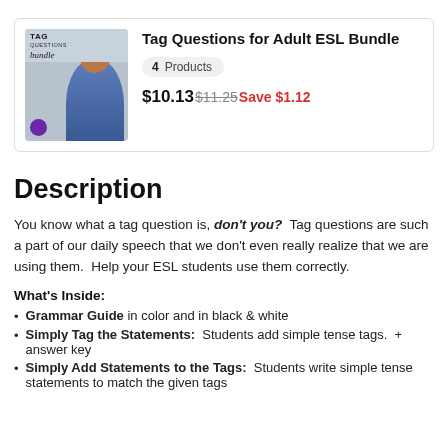[Figure (illustration): Product image showing 'Tag Questions Bundle' with a person in a blue shirt and a purple icon in the bottom left corner]
Tag Questions for Adult ESL Bundle
4  Products
$10.13$11.25Save $1.12
Description
You know what a tag question is, don't you?  Tag questions are such a part of our daily speech that we don't even really realize that we are using them.  Help your ESL students use them correctly.
What's Inside:
Grammar Guide in color and in black & white
Simply Tag the Statements:  Students add simple tense tags.  + answer key
Simply Add Statements to the Tags:  Students write simple tense statements to match the given tags